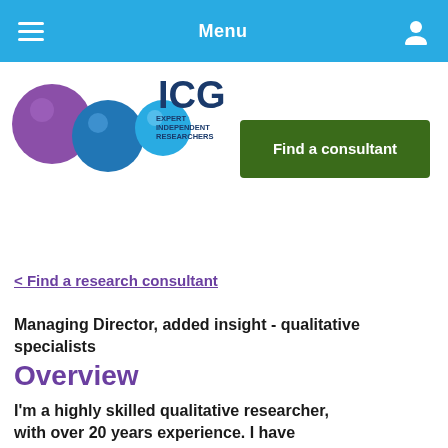Menu
[Figure (logo): ICG Expert Independent Researchers logo with coloured spheres]
Find a consultant
< Find a research consultant
Managing Director, added insight - qualitative specialists
Overview
I'm a highly skilled qualitative researcher, with over 20 years experience. I have